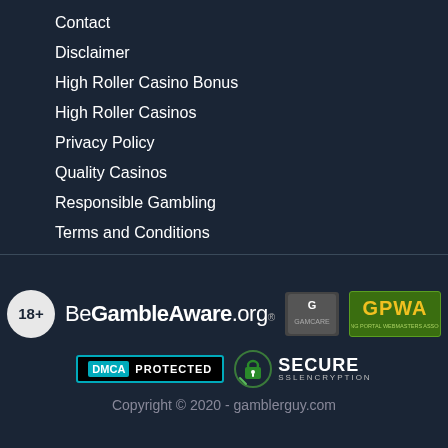Contact
Disclaimer
High Roller Casino Bonus
High Roller Casinos
Privacy Policy
Quality Casinos
Responsible Gambling
Terms and Conditions
[Figure (logo): Footer badges: 18+, BeGambleAware.org, GamCare, GPWA, DMCA Protected, SSL Secure Encryption logos]
Copyright © 2020 - gamblerguy.com